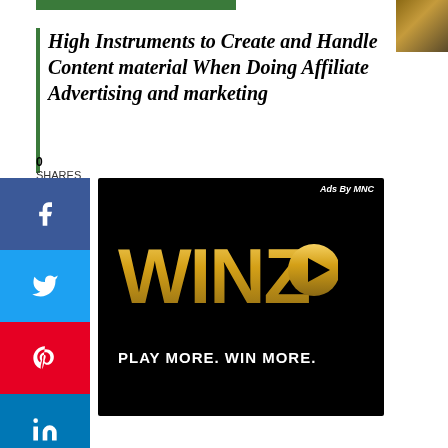High Instruments to Create and Handle Content material When Doing Affiliate Advertising and marketing
0 SHARES
[Figure (infographic): WinZo app advertisement on black background with gold 'WINZO' logo and play button, tagline 'PLAY MORE. WIN MORE.' with 'Ads By MNC' label in top right]
[Figure (photo): Partial photo in top right corner]